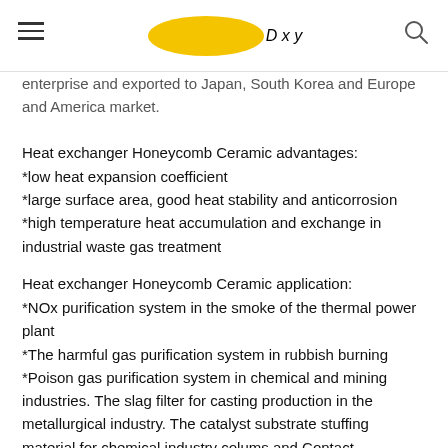Dxy [logo]
enterprise and exported to Japan, South Korea and Europe and America market.
Heat exchanger Honeycomb Ceramic advantages:
*low heat expansion coefficient
*large surface area, good heat stability and anticorrosion
*high temperature heat accumulation and exchange in industrial waste gas treatment
Heat exchanger Honeycomb Ceramic application:
*NOx purification system in the smoke of the thermal power plant
*The harmful gas purification system in rubbish burning
*Poison gas purification system in chemical and mining industries. The slag filter for casting production in the metallurgical industry. The catalyst substrate stuffing material for chemical industry colums and Contact combustion.